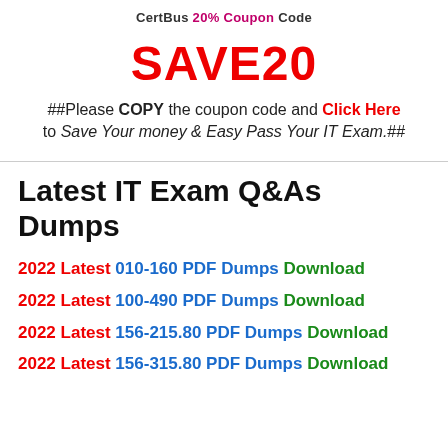CertBus 20% Coupon Code
SAVE20
##Please COPY the coupon code and Click Here
to Save Your money & Easy Pass Your IT Exam.##
Latest IT Exam Q&As Dumps
2022 Latest 010-160 PDF Dumps Download
2022 Latest 100-490 PDF Dumps Download
2022 Latest 156-215.80 PDF Dumps Download
2022 Latest 156-315.80 PDF Dumps Download